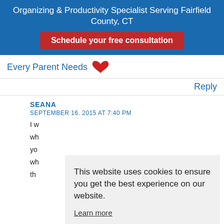Organizing & Productivity Specialist Serving Fairfield County, CT
Schedule your free consultation
Every Parent Needs
Reply
SEANA
SEPTEMBER 16. 2015 AT 7:40 PM
I w wh yo wh th
This website uses cookies to ensure you get the best experience on our website. Learn more Got it